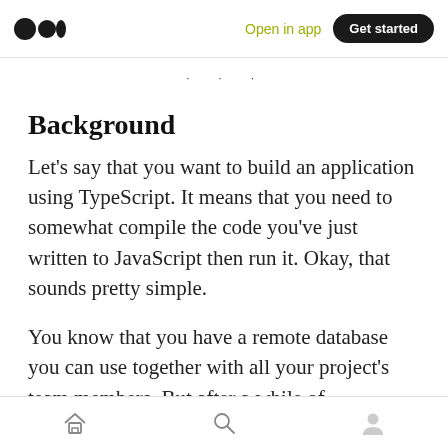Medium logo | Open in app | Get started
· · ·
Background
Let's say that you want to build an application using TypeScript. It means that you need to somewhat compile the code you've just written to JavaScript then run it. Okay, that sounds pretty simple.
You know that you have a remote database you can use together with all your project's team members. But after a while of developing the
Home | Search | Profile